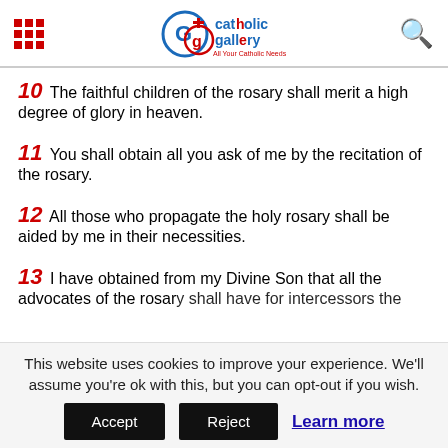Catholic Gallery — All Your Catholic Needs
10 The faithful children of the rosary shall merit a high degree of glory in heaven.
11 You shall obtain all you ask of me by the recitation of the rosary.
12 All those who propagate the holy rosary shall be aided by me in their necessities.
13 I have obtained from my Divine Son that all the advocates of the rosary shall have for intercessors the
This website uses cookies to improve your experience. We'll assume you're ok with this, but you can opt-out if you wish.